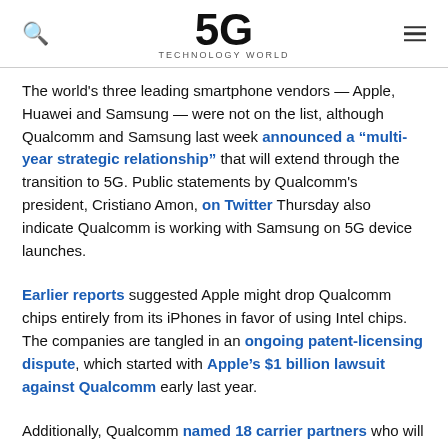5G TECHNOLOGY WORLD
The world's three leading smartphone vendors — Apple, Huawei and Samsung — were not on the list, although Qualcomm and Samsung last week announced a “multi-year strategic relationship” that will extend through the transition to 5G. Public statements by Qualcomm's president, Cristiano Amon, on Twitter Thursday also indicate Qualcomm is working with Samsung on 5G device launches.
Earlier reports suggested Apple might drop Qualcomm chips entirely from its iPhones in favor of using Intel chips. The companies are tangled in an ongoing patent-licensing dispute, which started with Apple’s $1 billion lawsuit against Qualcomm early last year.
Additionally, Qualcomm named 18 carrier partners who will utilize Qualcomm's 5G mobile test platform and smartphone reference